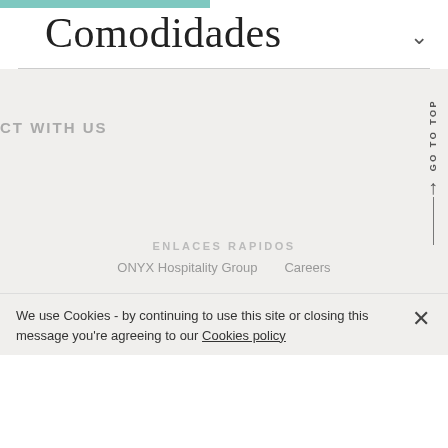Comodidades
CT WITH US
ENLACES RAPIDOS
ONYX Hospitality Group   Careers
We use Cookies - by continuing to use this site or closing this message you're agreeing to our Cookies policy